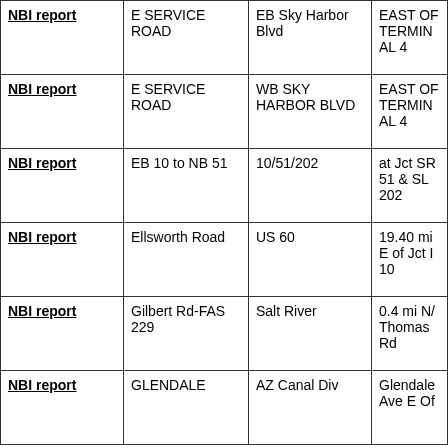| NBI report | E SERVICE ROAD | EB Sky Harbor Blvd | EAST OF TERMINAL 4 |
| NBI report | E SERVICE ROAD | WB SKY HARBOR BLVD | EAST OF TERMINAL 4 |
| NBI report | EB 10 to NB 51 | 10/51/202 | at Jct SR 51 & SL 202 |
| NBI report | Ellsworth Road | US 60 | 19.40 mi E of Jct I 10 |
| NBI report | Gilbert Rd-FAS 229 | Salt River | 0.4 mi N/ Thomas Rd |
| NBI report | GLENDALE | AZ Canal Div | Glendale Ave E Of |